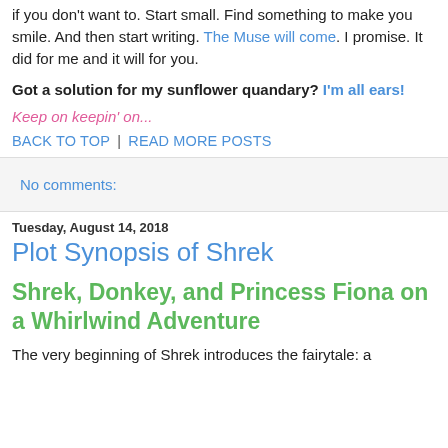if you don't want to. Start small. Find something to make you smile. And then start writing. The Muse will come. I promise. It did for me and it will for you.
Got a solution for my sunflower quandary? I'm all ears!
Keep on keepin' on...
BACK TO TOP | READ MORE POSTS
No comments:
Tuesday, August 14, 2018
Plot Synopsis of Shrek
Shrek, Donkey, and Princess Fiona on a Whirlwind Adventure
The very beginning of Shrek introduces the fairytale: a